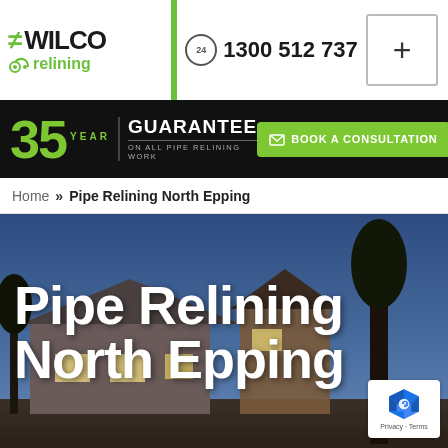[Figure (logo): Wilco Relining logo with green arrows and relining icon]
1300 512 737
35 YEAR GUARANTEE ON ALL PIPE RELINING WORK | BOOK A CONSULTATION
Home » Pipe Relining North Epping
[Figure (photo): Suburban house at dusk with blue sky, tree silhouette, and hero text overlay]
Pipe Relining North Epping